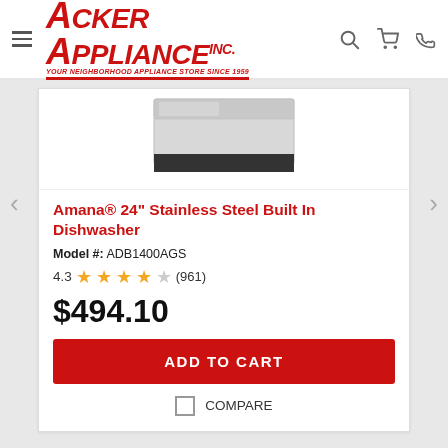[Figure (logo): Acker Appliance Inc. red italic logo]
[Figure (photo): Amana stainless steel built-in dishwasher product image]
Amana® 24" Stainless Steel Built In Dishwasher
Model #: ADB1400AGS
4.3 ★★★★☆ (961)
$494.10
ADD TO CART
COMPARE